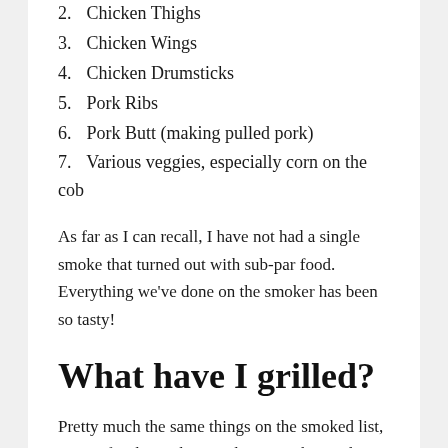2. Chicken Thighs
3. Chicken Wings
4. Chicken Drumsticks
5. Pork Ribs
6. Pork Butt (making pulled pork)
7. Various veggies, especially corn on the cob
As far as I can recall, I have not had a single smoke that turned out with sub-par food. Everything we've done on the smoker has been so tasty!
What have I grilled?
Pretty much the same things on the smoked list, except for the Pork Butt, that is too big to do properly on the gas grill.